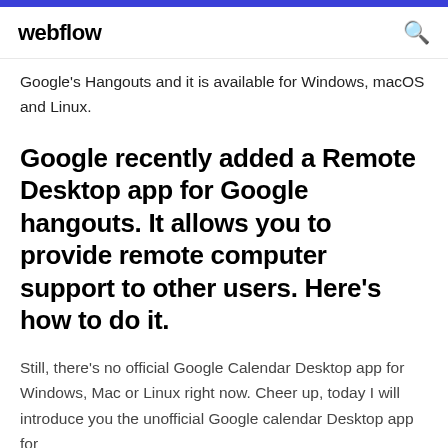webflow
Google's Hangouts and it is available for Windows, macOS and Linux.
Google recently added a Remote Desktop app for Google hangouts. It allows you to provide remote computer support to other users. Here's how to do it.
Still, there’s no official Google Calendar Desktop app for Windows, Mac or Linux right now. Cheer up, today I will introduce you the unofficial Google calendar Desktop app for